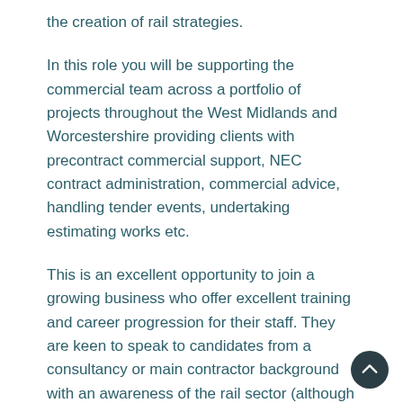the creation of rail strategies.
In this role you will be supporting the commercial team across a portfolio of projects throughout the West Midlands and Worcestershire providing clients with precontract commercial support, NEC contract administration, commercial advice, handling tender events, undertaking estimating works etc.
This is an excellent opportunity to join a growing business who offer excellent training and career progression for their staff. They are keen to speak to candidates from a consultancy or main contractor background with an awareness of the rail sector (although rail specific training can be provided).